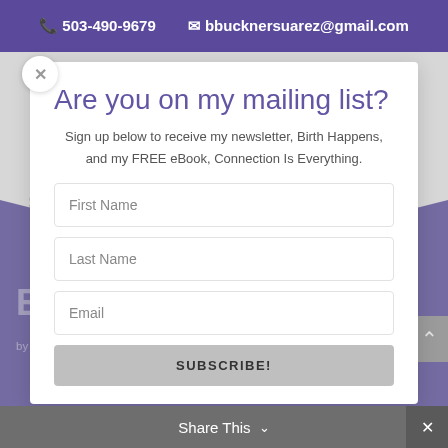503-490-9679   bbucknersuarez@gmail.com
Are you on my mailing list?
Sign up below to receive my newsletter, Birth Happens, and my FREE eBook, Connection Is Everything.
First Name
Last Name
Email
SUBSCRIBE!
Educating Educators!
by Barb Buckner Suárez | teaching | 4 comments
Share This
Select Page